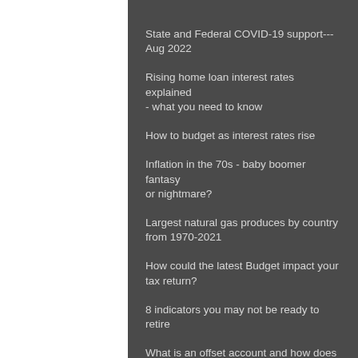State and Federal COVID-19 support--- Aug 2022
Rising home loan interest rates explained - what you need to know
How to budget as interest rates rise
Inflation in the 70s - baby boomer fantasy or nightmare?
Largest natural gas produces by country from 1970-2021
How could the latest Budget impact your tax return?
8 indicators you may not be ready to retire
What is an offset account and how does it work?
How to invest responsibly and ethically.